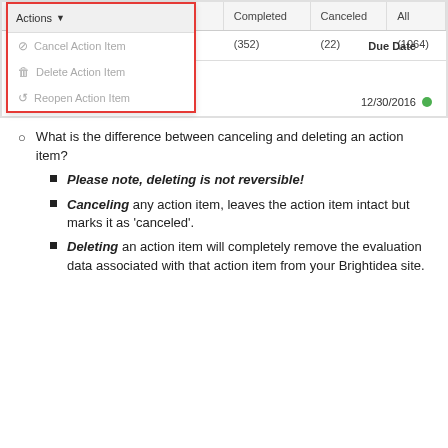[Figure (screenshot): Screenshot of a web application showing an 'Actions' dropdown menu with options: Cancel Action Item, Delete Action Item, Reopen Action Item. The dropdown is outlined in red. Tab buttons show Open (690), Completed (352), Canceled (22), All (1064). A table header shows 'Due Date' column and a row with date 12/30/2016 and a green dot indicator.]
What is the difference between canceling and deleting an action item?
Please note, deleting is not reversible!
Canceling any action item, leaves the action item intact but marks it as 'canceled'.
Deleting an action item will completely remove the evaluation data associated with that action item from your Brightidea site.